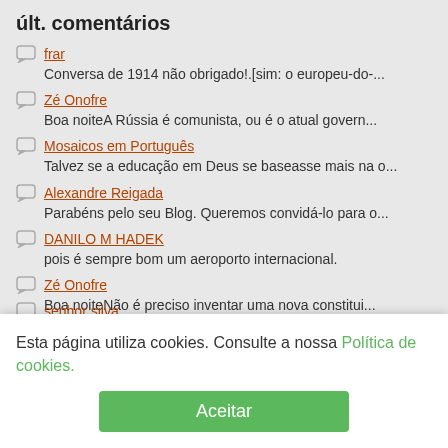últ. comentários
frar
Conversa de 1914 não obrigado!.[sim: o europeu-do-...
Zé Onofre
Boa noiteA Rússia é comunista, ou é o atual govern...
Mosaicos em Português
Talvez se a educação em Deus se baseasse mais na o...
Alexandre Reigada
Parabéns pelo seu Blog. Queremos convidá-lo para o...
DANILO M HADEK
pois é sempre bom um aeroporto internacional.
Zé Onofre
Boa noiteNão é preciso inventar uma nova constitui...
Pedro Fonseca
Estamos mesmo a comparar o presidente do Banco de...
senhor silva
Esta página utiliza cookies. Consulte a nossa Política de cookies.
Aceitar